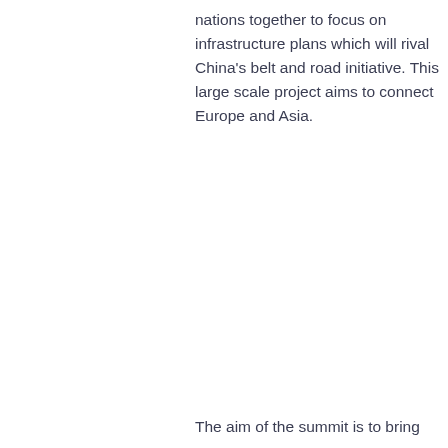nations together to focus on infrastructure plans which will rival China's belt and road initiative. This large scale project aims to connect Europe and Asia.
The aim of the summit is to bring